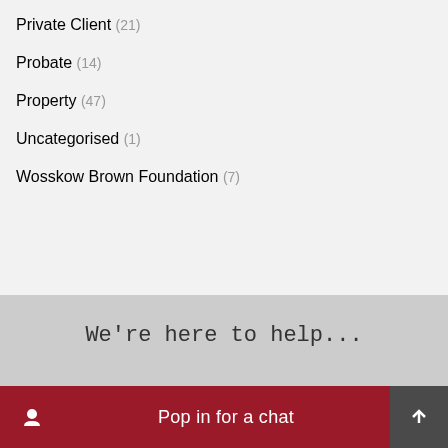Private Client (21)
Probate (14)
Property (47)
Uncategorised (1)
Wosskow Brown Foundation (7)
We're here to help...
Pop in for a chat